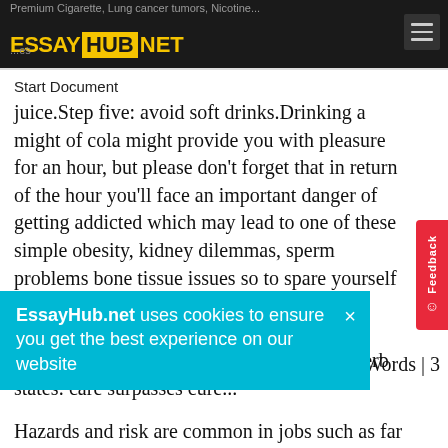Premium Cigarette, Lung cancer tumors, Nicotine... | ESSAYHUB.NET
Start Document
juice.Step five: avoid soft drinks.Drinking a might of cola might provide you with pleasure for an hour, but please don’t forget that in return of the hour you'll face an important danger of getting addicted which may lead to one of these simple obesity, kidney dilemmas, sperm problems bone tissue issues so to spare yourself these danger try not to drink cola assuming you're already addicted it might be a smart choice for sober right away, and as the proverb states: care surpasses cure...
001 Words | 3
EssayHub.net uses cookies to ensure you get the best experience on our website
Hazards and risk are common in jobs such as far